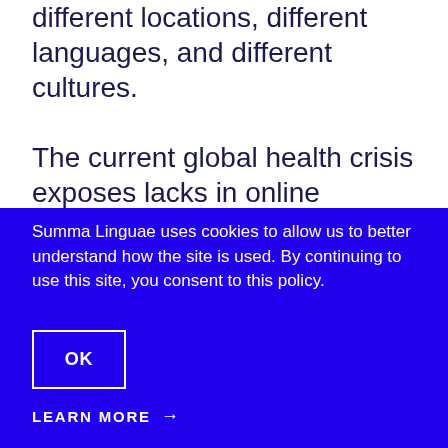different locations, different languages, and different cultures.
The current global health crisis exposes lacks in online learning standards. But it can also become an opportunity to transform content for better...
Summa Linguae uses cookies to allow us to better understand how the site is used. By continuing to use this site, you consent to this policy.
OK
LEARN MORE →